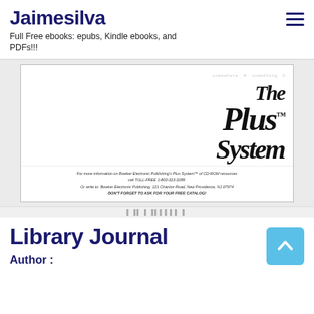Jaimesilva
Full Free ebooks: epubs, Kindle ebooks, and PDFs!!!
[Figure (photo): Book cover image showing 'The Plus System' logo in bold italic script on white background, with small blurred text at the bottom about Bowker Electronic Publishing's Plus System of CD-ROM resources.]
Library Journal
Author :